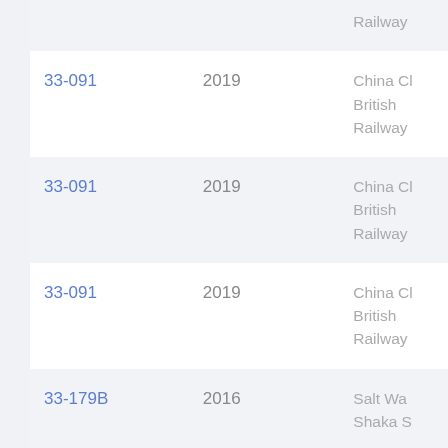| Reference | Year | Quantity | Location |
| --- | --- | --- | --- |
|  |  |  | Railway |
| 33-091 | 2019 |  | China Cl
British
Railway |
| 33-091 | 2019 |  | China Cl
British
Railway |
| 33-091 | 2019 |  | China Cl
British
Railway |
| 33-179B | 2016 |  | Salt Wa
Shaka S |
| 33-181A | 2019 | 22 | Salt Wa
Stafforc |